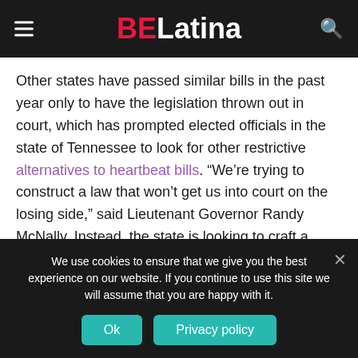BELatina
Other states have passed similar bills in the past year only to have the legislation thrown out in court, which has prompted elected officials in the state of Tennessee to look for other restrictive alternatives to heartbeat bills. “We’re trying to construct a law that won’t get us into court on the losing side,” said Lieutenant Governor Randy McNally. Instead, the state is looking to craft a trigger ban that will go into effect if the Supreme Court overturns Roe v. Wade.
[Figure (photo): Partial view of an advertisement banner showing green foliage and a cylindrical object, with a blue X close button to the right.]
We use cookies to ensure that we give you the best experience on our website. If you continue to use this site we will assume that you are happy with it.